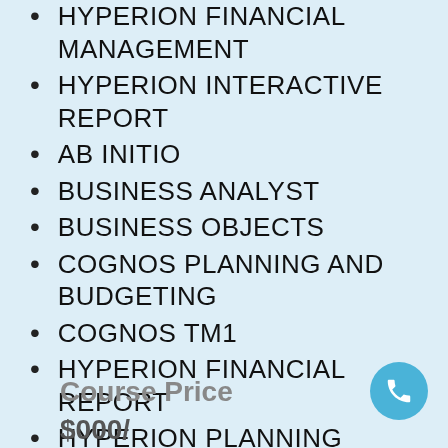HYPERION FINANCIAL MANAGEMENT
HYPERION INTERACTIVE REPORT
AB INITIO
BUSINESS ANALYST
BUSINESS OBJECTS
COGNOS PLANNING AND BUDGETING
COGNOS TM1
HYPERION FINANCIAL REPORT
HYPERION PLANNING
Course Price
$000/